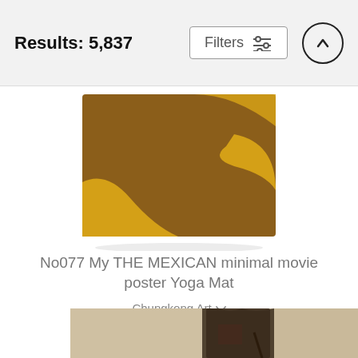Results: 5,837
[Figure (screenshot): Filter button with sliders icon]
[Figure (illustration): Yoga mat product image showing brown and yellow abstract design (The Mexican minimal movie poster yoga mat)]
No077 My THE MEXICAN minimal movie poster Yoga Mat
Chungkong Art
$91 (strikethrough) $73
[Figure (photo): Man wearing dark duster coat standing in desert/sandy environment, partial view cut off at bottom of page]